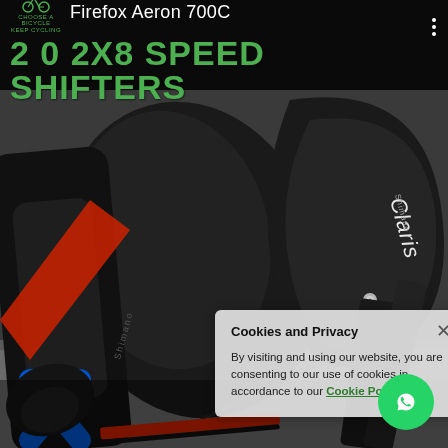[Figure (screenshot): Website screenshot showing a close-up photo of Shimano Claris bicycle shifters/brake levers on a road bike, with dark background. The handlebars and brake lever assembly are visible with 'Shimano' and 'Claris' branding on the components. Red and blue decals visible on the frame.]
Firefox Aeron 700C  2X0 2X8 SPEED SHIFTERS
By visiting and using our website, you are consenting to our use of cookies in accordance to our Cookie Policy.
Cookies and Privacy